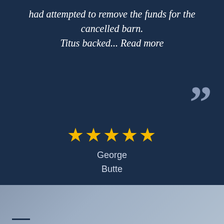had attempted to remove the funds for the cancelled barn. Titus backed... Read more
★★★★★
George
Butte
YOU ARE SAFE WITH OUR WARRANTY